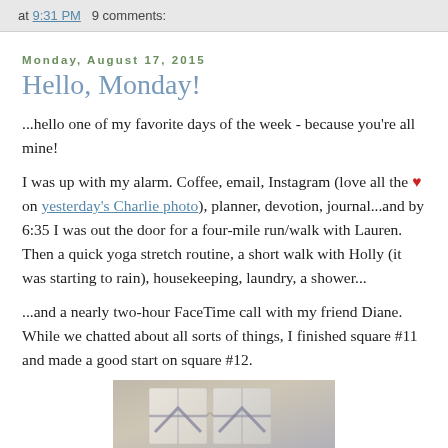at 9:31 PM   9 comments:
Monday, August 17, 2015
Hello, Monday!
...hello one of my favorite days of the week - because you're all mine!
I was up with my alarm. Coffee, email, Instagram (love all the ♥ on yesterday's Charlie photo), planner, devotion, journal...and by 6:35 I was out the door for a four-mile run/walk with Lauren. Then a quick yoga stretch routine, a short walk with Holly (it was starting to rain), housekeeping, laundry, a shower...
...and a nearly two-hour FaceTime call with my friend Diane. While we chatted about all sorts of things, I finished square #11 and made a good start on square #12.
[Figure (photo): Photo of knitted/crocheted squares in cream and gray colors on a brown background]